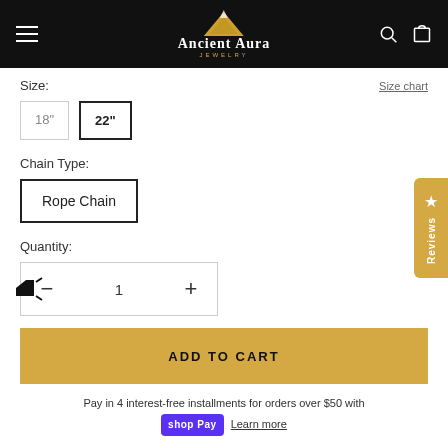Ancient Aura Jewelry - navigation header
Size:
Size chart
18"
22"
Chain Type:
Rope Chain
Quantity:
1
ADD TO CART
Pay in 4 interest-free installments for orders over $50 with shop Pay Learn more